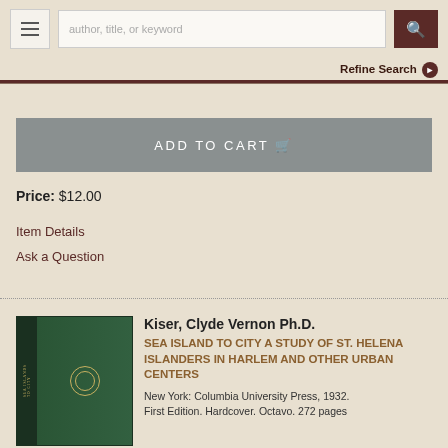author, title, or keyword | Refine Search
ADD TO CART
Price: $12.00
Item Details
Ask a Question
[Figure (photo): Green hardcover book with spine text and medallion on cover]
Kiser, Clyde Vernon Ph.D.
SEA ISLAND TO CITY A STUDY OF ST. HELENA ISLANDERS IN HARLEM AND OTHER URBAN CENTERS
New York: Columbia University Press, 1932.
First Edition. Hardcover. Octavo. 272 pages